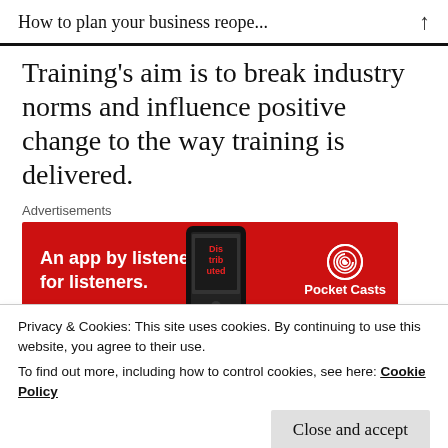How to plan your business reope...
Training's aim is to break industry norms and influence positive change to the way training is delivered.
Advertisements
[Figure (other): Pocket Casts advertisement banner: red background with text 'An app by listeners, for listeners.' and Pocket Casts logo, phone image showing 'Distributed' app.]
REPORT THIS AD
Web: https://e2etraining.co.uk/
Privacy & Cookies: This site uses cookies. By continuing to use this website, you agree to their use.
To find out more, including how to control cookies, see here: Cookie Policy
Close and accept
Advertisements